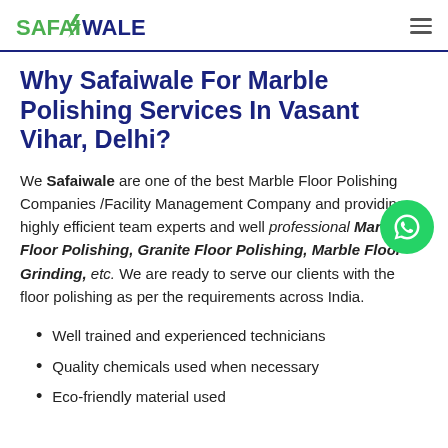SAFAIWALE
Why Safaiwale For Marble Polishing Services In Vasant Vihar, Delhi?
We Safaiwale are one of the best Marble Floor Polishing Companies /Facility Management Company and providing highly efficient team experts and well professional Marble Floor Polishing, Granite Floor Polishing, Marble Floor Grinding, etc. We are ready to serve our clients with the floor polishing as per the requirements across India.
Well trained and experienced technicians
Quality chemicals used when necessary
Eco-friendly material used